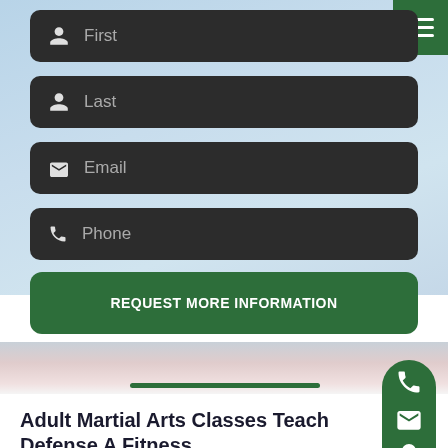[Figure (screenshot): Web form with dark input fields for First name, Last name, Email, and Phone on a light blue background, with a green hamburger menu button in top-right corner]
First
Last
Email
Phone
REQUEST MORE INFORMATION
Adult Martial Arts Classes Teach Defense A Fitness
Whether you are looking to get in great shape, reduce